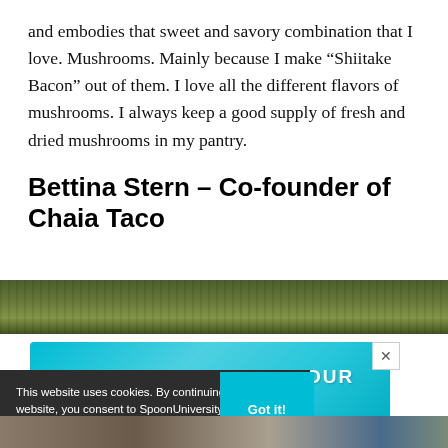and embodies that sweet and savory combination that I love. Mushrooms. Mainly because I make “Shiitake Bacon” out of them. I love all the different flavors of mushrooms. I always keep a good supply of fresh and dried mushrooms in my pantry.
Bettina Stern – Co-founder of Chaia Taco
[Figure (photo): Outdoor photo strip showing trees and foliage]
[Figure (infographic): Advertisement banner with teal gradient background reading GO AHEAD, play WITH YOUR FOOD with star decorations and close button]
This website uses cookies. By continuing to use this website, you consent to SpoonUniversity.com's usage of cookies and similar technologies Learn more
[Figure (photo): Bottom partial photo showing people]